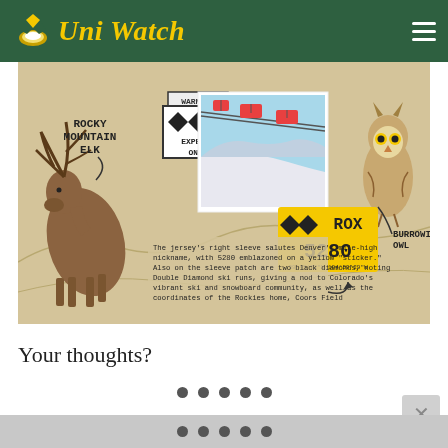Uni Watch
[Figure (illustration): Illustrated infographic showing Rocky Mountain Elk on left, a ski lift photo in center, a Burrowing Owl on right, a yellow '5280 ROX' sticker patch with coordinates, and a WARNING Experts Only ski sign. Text reads: The jersey's right sleeve salutes Denver's mile-high nickname, with 5280 emblazoned on a yellow 'sticker.' Also on the sleeve patch are two black diamonds, noting Double Diamond ski runs, giving a nod to Colorado's vibrant ski and snowboard community, as well as the coordinates of the Rockies home, Coors Field]
Your thoughts?